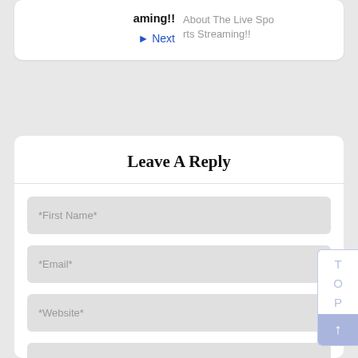aming!!
About The Live Sports Streaming!!
▶ Next
Leave A Reply
*First Name*
*Email*
*Website*
Textarea